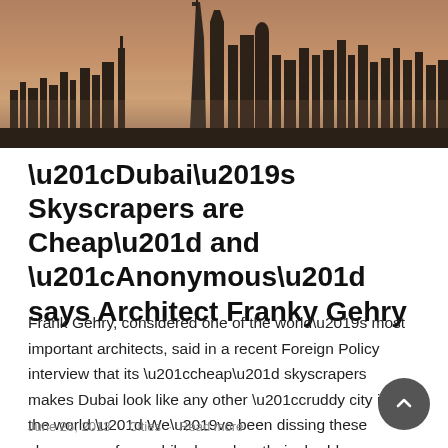[Figure (photo): Dubai skyline at dusk/sunset with skyscrapers including the Burj Khalifa against an orange-brown hazy sky]
“Dubai’s Skyscrapers are Cheap” and “Anonymous” says Architect Franky Gehry
Frank Gehry, considered one of the world’s most important architects, said in a recent Foreign Policy interview that its “cheap” skyscrapers makes Dubai look like any other “cruddy city in the world.” We’ve been dissing these skyscrapers for a while, based on their shoddy eco credentials, but it’s so satisfying to hear from one of
June 26, 2013 · Cities · Read more